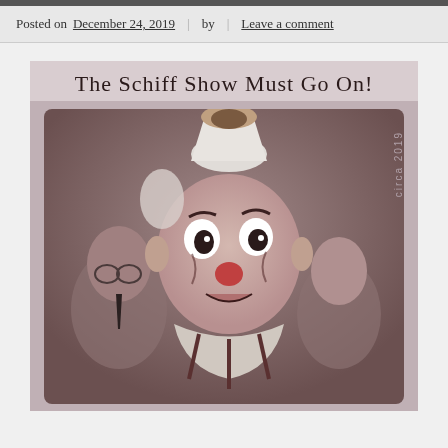Posted on December 24, 2019 | by | Leave a comment
[Figure (illustration): Political cartoon/caricature illustration in sepia tones titled 'The Schiff Show Must Go On!' showing a clown in costume with exaggerated wide eyes and face paint in the foreground, with two other figures in the background. Watermark reads 'circa 2019'.]